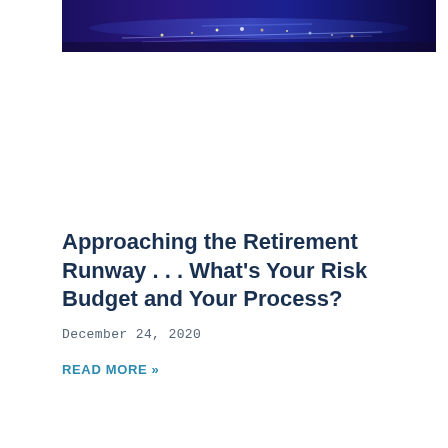[Figure (photo): A nighttime cityscape or aerial view of a lit city/bridge with blue and purple hues, used as a banner image at the top of the page.]
Approaching the Retirement Runway . . . What's Your Risk Budget and Your Process?
December 24, 2020
READ MORE »